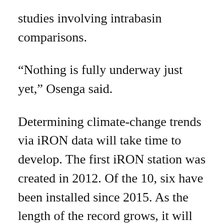studies involving intrabasin comparisons.
“Nothing is fully underway just yet,” Osenga said.
Determining climate-change trends via iRON data will take time to develop. The first iRON station was created in 2012. Of the 10, six have been installed since 2015. As the length of the record grows, it will become increasingly easier to detect climate change trends, Vano said.
Adding to the uncertainty, the Colorado River basin has been in an extended dry